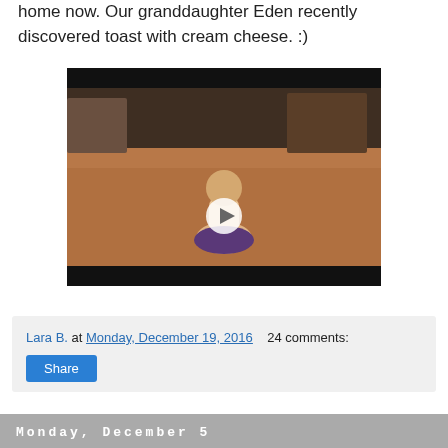home now. Our granddaughter Eden recently discovered toast with cream cheese. :)
[Figure (screenshot): Video thumbnail showing a baby/toddler sitting on a wooden floor with a white play button overlay in the center. The video has black bars at top and bottom.]
Lara B. at Monday, December 19, 2016   24 comments:
Share
Monday, December 5